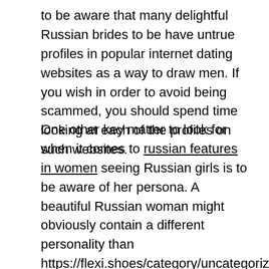to be aware that many delightful Russian brides to be have untrue profiles in popular internet dating websites as a way to draw men. If you wish in order to avoid being scammed, you should spend time looking at each of the profiles on such websites.
One other key matter to look for when it comes to russian features in women seeing Russian girls is to be aware of her persona. A beautiful Russian woman might obviously contain a different personality than https://flexi.shoes/category/uncategorized/page/215/ a boring American woman, but it's possible to have a feel for a particular girl by observing her characteristics. For instance , a Russian female who really loves classical music probably won't want as of yet a guy exactly who listens to country music. You should also take notice to her likes and dislikes, along with her life-style. If she has a big residence and is surrounded with kids, this could be a